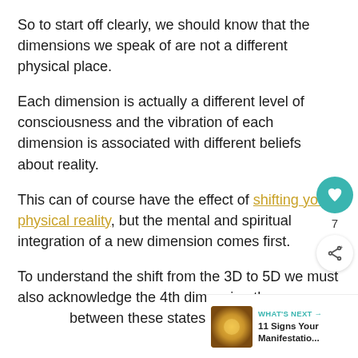So to start off clearly, we should know that the dimensions we speak of are not a different physical place.
Each dimension is actually a different level of consciousness and the vibration of each dimension is associated with different beliefs about reality.
This can of course have the effect of shifting your physical reality, but the mental and spiritual integration of a new dimension comes first.
To understand the shift from the 3D to 5D we must also acknowledge the 4th dimension that lies between these states of awareness.